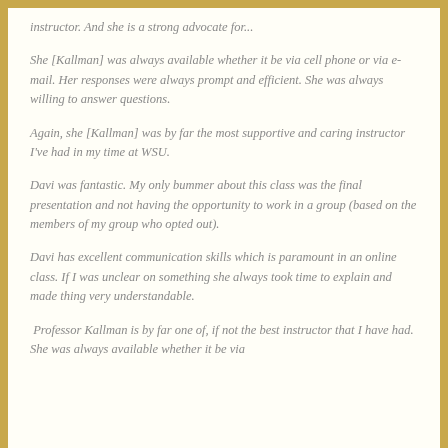instructor. And she is a strong advocate for...
She [Kallman] was always available whether it be via cell phone or via e-mail. Her responses were always prompt and efficient. She was always willing to answer questions.
Again, she [Kallman] was by far the most supportive and caring instructor I've had in my time at WSU.
Davi was fantastic. My only bummer about this class was the final presentation and not having the opportunity to work in a group (based on the members of my group who opted out).
Davi has excellent communication skills which is paramount in an online class. If I was unclear on something she always took time to explain and made thing very understandable.
Professor Kallman is by far one of, if not the best instructor that I have had. She was always available whether it be via phone or e-mail. She was there to assist. Please...